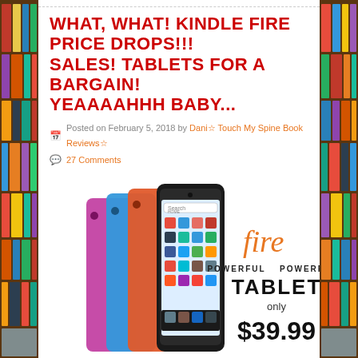WHAT, WHAT! KINDLE FIRE PRICE DROPS!!! SALES! TABLETS FOR A BARGAIN! YEAAAAHHH BABY...
Posted on February 5, 2018 by Dani☆ Touch My Spine Book Reviews☆
27 Comments
[Figure (photo): Amazon Kindle Fire tablets in multiple colors (black, orange, blue, purple/magenta) lined up, with Fire branding showing 'fire POWERFUL TABLET only $39.99']